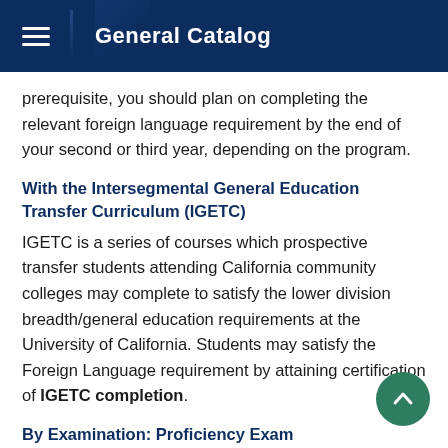General Catalog
prerequisite, you should plan on completing the relevant foreign language requirement by the end of your second or third year, depending on the program.
With the Intersegmental General Education Transfer Curriculum (IGETC)
IGETC is a series of courses which prospective transfer students attending California community colleges may complete to satisfy the lower division breadth/general education requirements at the University of California. Students may satisfy the Foreign Language requirement by attaining certification of IGETC completion.
By Examination: Proficiency Exam
The UC Davis Language Center (DLC) offers proficiency tests in numerous languages. A proficiency test does not yield unit credit; it only determines whether the Foreign